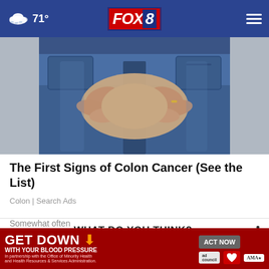FOX 8 | 71°
[Figure (photo): Close-up photo of a person wearing blue denim jeans, with hands clasped together over the lower abdomen/hip area.]
The First Signs of Colon Cancer (See the List)
Colon | Search Ads
WHAT DO YOU THINK?
How often do you play the lottery?
[Figure (screenshot): Ad banner: GET DOWN WITH YOUR BLOOD PRESSURE. In partnership with the Office of Minority Health and Health Resources & Services Administration. ACT NOW button. Ad Council, American Heart Association, AMA logos.]
Somewhat often